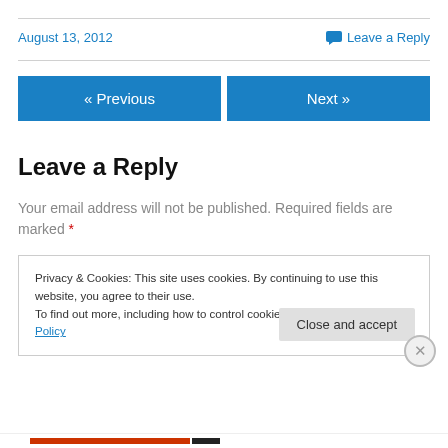August 13, 2012
Leave a Reply
« Previous
Next »
Leave a Reply
Your email address will not be published. Required fields are marked *
Privacy & Cookies: This site uses cookies. By continuing to use this website, you agree to their use. To find out more, including how to control cookies, see here: Cookie Policy
Close and accept